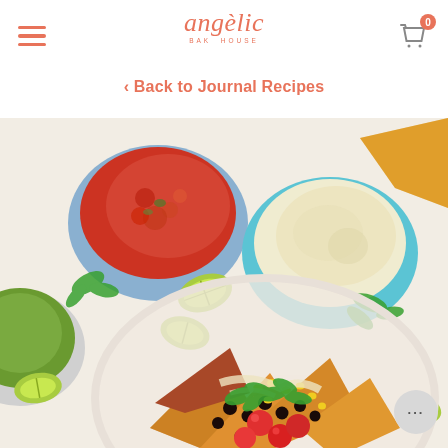angelic bakehouse
‹ Back to Journal Recipes
[Figure (photo): Overhead flat-lay photo of nachos with black beans, cherry tomatoes, corn, and cilantro on a plate, surrounded by bowls of salsa and cashew cream sauce, lime wedges, and tortilla chips on white parchment]